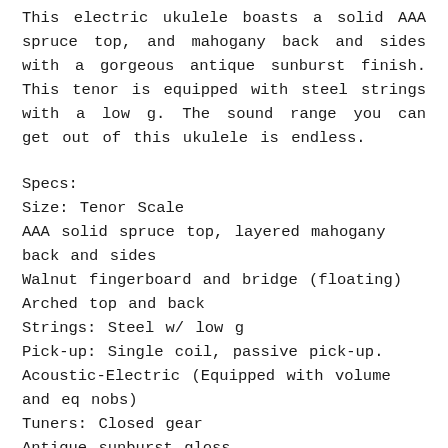This electric ukulele boasts a solid AAA spruce top, and mahogany back and sides with a gorgeous antique sunburst finish. This tenor is equipped with steel strings with a low g. The sound range you can get out of this ukulele is endless.
Specs:
Size: Tenor Scale
AAA solid spruce top, layered mahogany back and sides
Walnut fingerboard and bridge (floating)
Arched top and back
Strings: Steel w/ low g
Pick-up: Single coil, passive pick-up.
Acoustic-Electric (Equipped with volume and eq nobs)
Tuners: Closed gear
Antique sunburst gloss
Comes with a Free case